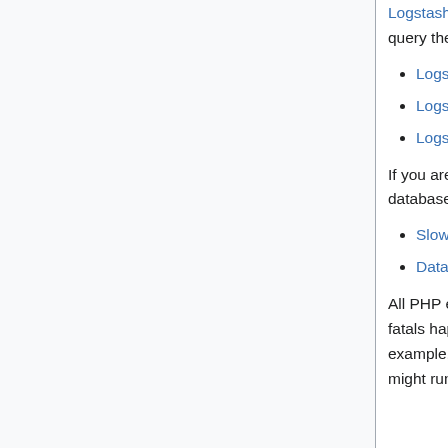Logstash + elasticsearch + Kibana aggregates exceptions and fatals and lets you query them.
Logstash fatalmonitor
Logstash MediaWiki errors/warnings
Logstash combined events monitor
If you are deploying database changes, you should keep an eye on slow queries and database lag via tendril:
Slow queries
Database lag
All PHP error logs are routed to the server mwlog1001 in /a/mw-log. Exceptions and fatals happen constantly, so you need to get a sense of changes over time. For example, to see trends in "Maximum execution time exceeded" errors this month, you might run